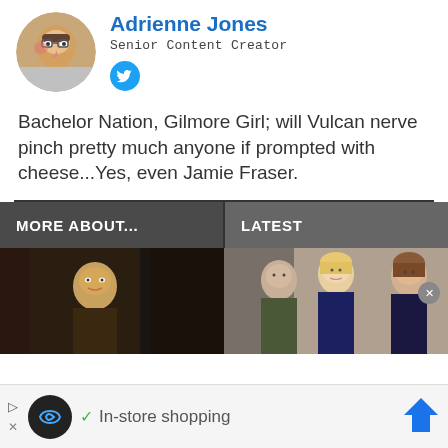[Figure (photo): Circular avatar photo of a person with glasses]
Adrienne Jones
Senior Content Creator
[Figure (logo): Twitter bird icon in blue circle]
Bachelor Nation, Gilmore Girl; will Vulcan nerve pinch pretty much anyone if prompted with cheese...Yes, even Jamie Fraser.
MORE ABOUT...
LATEST
[Figure (photo): Dark scene with young person]
[Figure (photo): Group of three people, two women and a bald man]
In-store shopping